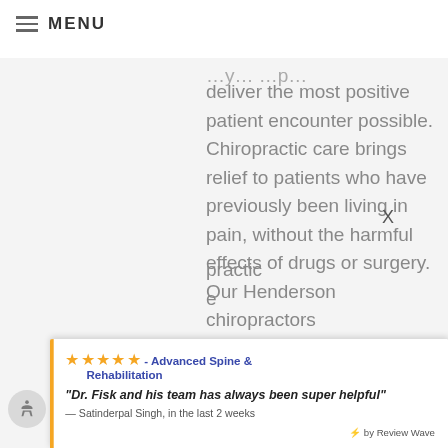≡ MENU
deliver the most positive patient encounter possible. Chiropractic care brings relief to patients who have previously been living in pain, without the harmful effects of drugs or surgery. Our Henderson chiropractors
★★★★★ - Advanced Spine & Rehabilitation
"Dr. Fisk and his team has always been super helpful"
— Satinderpal Singh, in the last 2 weeks
⚡ by Review Wave